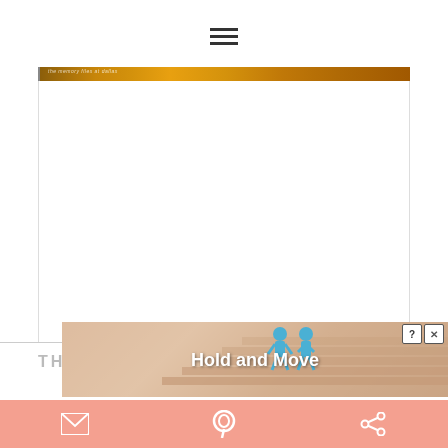[Figure (screenshot): Website screenshot showing a hamburger menu icon at top center, a golden/amber colored banner strip near the top, a large white content area in the middle, partial 'THE' text at bottom left in gray, a circular avatar at bottom right, an advertisement overlay showing 'Hold and Move' with two people figures and staircase background, and a salmon-colored social sharing toolbar at the very bottom with email, Pinterest, and share icons.]